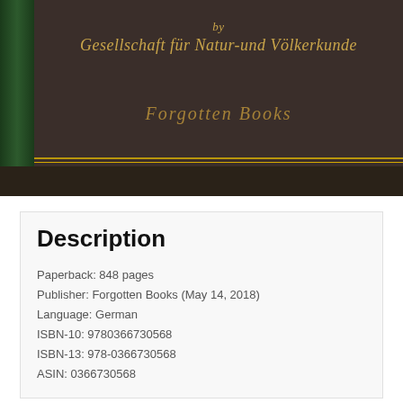[Figure (photo): Book cover with dark brown background, green spine stripe on the left, gold decorative lines near the bottom, italic gold text reading 'by Gesellschaft für Natur-und Völkerkunde' at the top center, and 'Forgotten Books' watermark text in the middle. A dark band runs across the bottom of the cover.]
Description
Paperback: 848 pages
Publisher: Forgotten Books (May 14, 2018)
Language: German
ISBN-10: 9780366730568
ISBN-13: 978-0366730568
ASIN: 0366730568